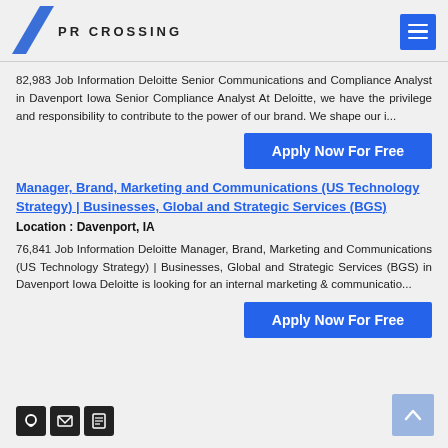PR CROSSING
82,983 Job Information Deloitte Senior Communications and Compliance Analyst in Davenport Iowa Senior Compliance Analyst At Deloitte, we have the privilege and responsibility to contribute to the power of our brand. We shape our i...
Apply Now For Free
Manager, Brand, Marketing and Communications (US Technology Strategy) | Businesses, Global and Strategic Services (BGS)
Location : Davenport, IA
76,841 Job Information Deloitte Manager, Brand, Marketing and Communications (US Technology Strategy) | Businesses, Global and Strategic Services (BGS) in Davenport Iowa Deloitte is looking for an internal marketing & communicatio...
Apply Now For Free